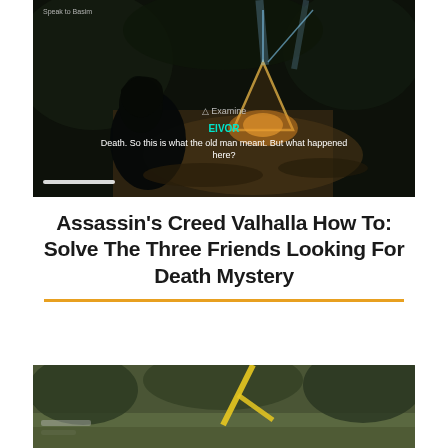[Figure (screenshot): Screenshot from Assassin's Creed Valhalla game showing a dark forest scene at night with a glowing triangular structure, a character silhouette in foreground, and dialogue text: 'EIVOR - Death. So this is what the old man meant. But what happened here?' with an Examine prompt visible.]
Assassin's Creed Valhalla How To: Solve The Three Friends Looking For Death Mystery
[Figure (screenshot): Partial screenshot from Assassin's Creed Valhalla showing a daytime outdoor scene with a yellow/gold diagonal marker or arrow visible.]